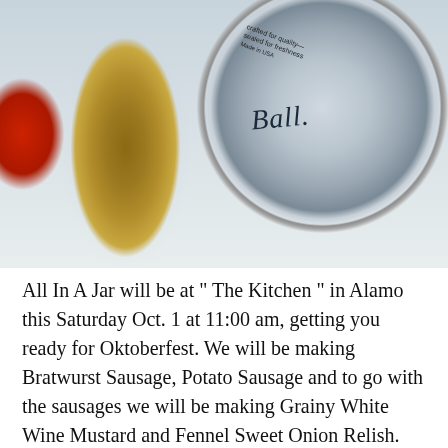[Figure (photo): Close-up photo of a glass mason jar filled with grainy mustard or relish, with a Ball brand silver lid leaning against it on a white surface. A red item is visible on the left.]
All In A Jar will be at " The Kitchen " in Alamo this Saturday Oct. 1 at 11:00 am, getting you ready for Oktoberfest. We will be making Bratwurst Sausage, Potato Sausage and to go with the sausages we will be making Grainy White Wine Mustard and Fennel Sweet Onion Relish. We will be